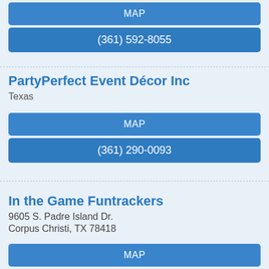MAP
(361) 592-8055
PartyPerfect Event Décor Inc
Texas
MAP
(361) 290-0093
In the Game Funtrackers
9605 S. Padre Island Dr.
Corpus Christi, TX 78418
MAP
(361) 937-9400